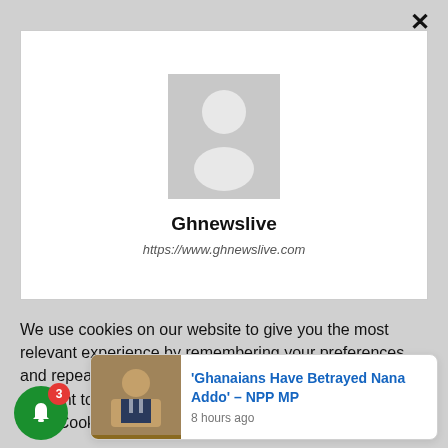[Figure (screenshot): Website notification popup showing Ghnewslive profile with avatar placeholder, site name, and URL]
Ghnewslive
https://www.ghnewslive.com
We use cookies on our website to give you the most relevant experience by remembering your preferences and repeat visits. By clicking "ACCEPT ALL", you consent to the use of ALL the cookies. However you may visit "Cookie Settings" to pro
'Ghanaians Have Betrayed Nana Addo' – NPP MP
8 hours ago